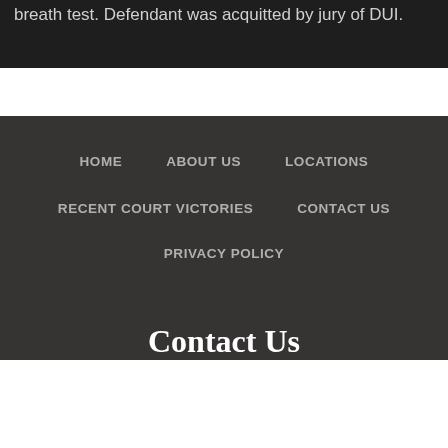breath test. Defendant was acquitted by jury of DUI.
HOME
ABOUT US
LOCATIONS
RECENT COURT VICTORIES
CONTACT US
PRIVACY POLICY
Contact Us